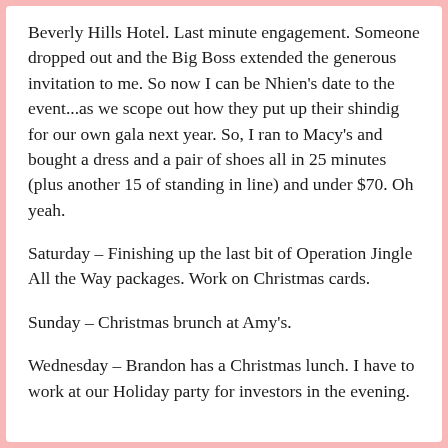Beverly Hills Hotel. Last minute engagement. Someone dropped out and the Big Boss extended the generous invitation to me. So now I can be Nhien's date to the event...as we scope out how they put up their shindig for our own gala next year. So, I ran to Macy's and bought a dress and a pair of shoes all in 25 minutes (plus another 15 of standing in line) and under $70. Oh yeah.
Saturday – Finishing up the last bit of Operation Jingle All the Way packages. Work on Christmas cards.
Sunday – Christmas brunch at Amy's.
Wednesday – Brandon has a Christmas lunch. I have to work at our Holiday party for investors in the evening.